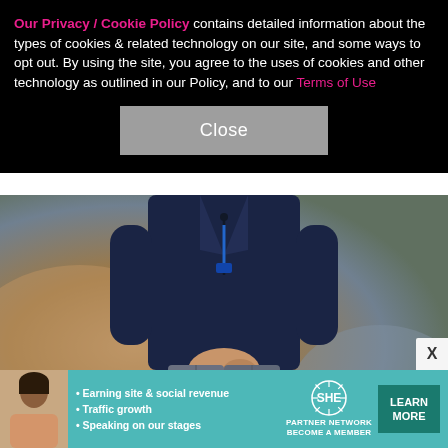Our Privacy / Cookie Policy contains detailed information about the types of cookies & related technology on our site, and some ways to opt out. By using the site, you agree to the uses of cookies and other technology as outlined in our Policy, and to our Terms of Use
[Figure (other): Close button (gray rectangle with white 'Close' text)]
[Figure (photo): A person wearing a dark navy blazer and gray trousers, hands clasped in front, standing against a mottled brown/teal background. Only the torso and legs are visible.]
[Figure (infographic): SHE Partner Network advertisement banner. Text: Earning site & social revenue, Traffic growth, Speaking on our stages. SHE Partner Network logo. LEARN MORE button.]